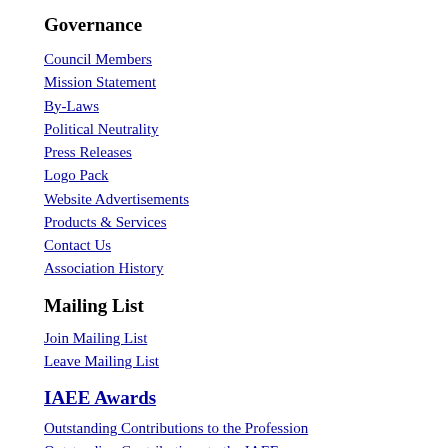Governance
Council Members
Mission Statement
By-Laws
Political Neutrality
Press Releases
Logo Pack
Website Advertisements
Products & Services
Contact Us
Association History
Mailing List
Join Mailing List
Leave Mailing List
IAEE Awards
Outstanding Contributions to the Profession
Outstanding Contributions to the IAEE
Campbell Watkins Energy Journal Best Paper Award